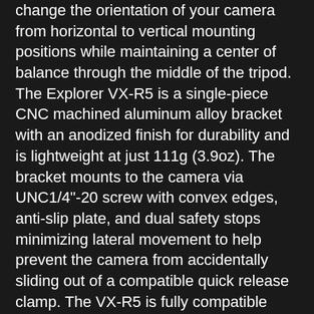change the orientation of your camera from horizontal to vertical mounting positions while maintaining a center of balance through the middle of the tripod. The Explorer VX-R5 is a single-piece CNC machined aluminum alloy bracket with an anodized finish for durability and is lightweight at just 111g (3.9oz). The bracket mounts to the camera via UNC1/4"-20 screw with convex edges, anti-slip plate, and dual safety stops minimizing lateral movement to help prevent the camera from accidentally sliding out of a compatible quick release clamp. The VX-R5 is fully compatible with is compatible with both Arca-type and Really Right Stuff lever clamp.
The battery compartment and all side ports are fully accessible, and the flip-out / rotating screen of the R5 / R6 has full movement allowing it to be used in all positions.